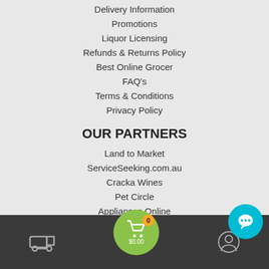Delivery Information
Promotions
Liquor Licensing
Refunds & Returns Policy
Best Online Grocer
FAQ's
Terms & Conditions
Privacy Policy
OUR PARTNERS
Land to Market
ServiceSeeking.com.au
Cracka Wines
Pet Circle
Appliances Online
GIVE US A BELL
1300 828 491
[Figure (screenshot): Bottom navigation bar with delivery truck icon, green shopping cart button with 0 badge and $0.00 label, and user profile icon on dark background. Teal chat bubble in bottom right.]